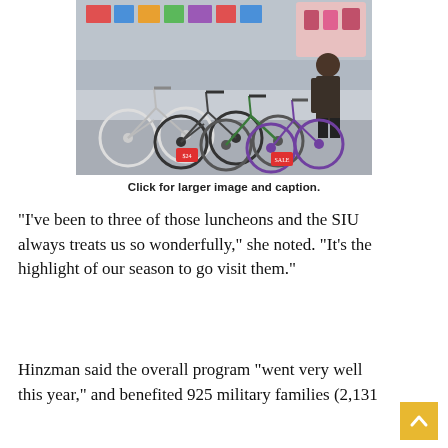[Figure (photo): Photo of multiple bicycles lined up in a store with a person standing behind them and shelves of toys/items in the background.]
Click for larger image and caption.
“I’ve been to three of those luncheons and the SIU always treats us so wonderfully,” she noted. “It’s the highlight of our season to go visit them.”
Hinzman said the overall program “went very well this year,” and benefited 925 military families (2,131